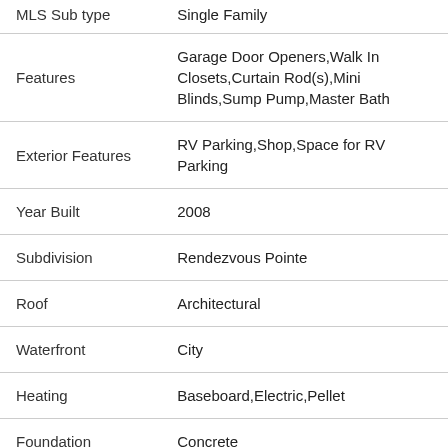| Field | Value |
| --- | --- |
| MLS Sub type | Single Family |
| Features | Garage Door Openers,Walk In Closets,Curtain Rod(s),Mini Blinds,Sump Pump,Master Bath |
| Exterior Features | RV Parking,Shop,Space for RV Parking |
| Year Built | 2008 |
| Subdivision | Rendezvous Pointe |
| Roof | Architectural |
| Waterfront | City |
| Heating | Baseboard,Electric,Pellet |
| Foundation | Concrete |
| Laundry Features | Main Level |